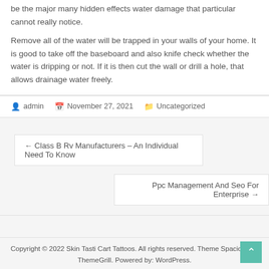be the major many hidden effects water damage that particular cannot really notice.
Remove all of the water will be trapped in your walls of your home. It is good to take off the baseboard and also knife check whether the water is dripping or not. If it is then cut the wall or drill a hole, that allows drainage water freely.
admin   November 27, 2021   Uncategorized
← Class B Rv Manufacturers – An Individual Need To Know
Ppc Management And Seo For Enterprise →
Copyright © 2022 Skin Tasti Cart Tattoos. All rights reserved. Theme Spacious by ThemeGrill. Powered by: WordPress.